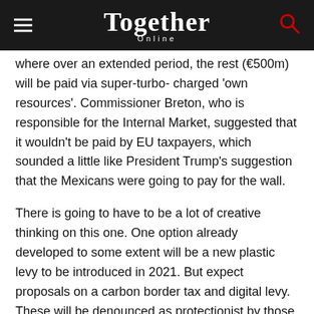Together Online
where over an extended period, the rest (€500m) will be paid via super-turbo- charged 'own resources'. Commissioner Breton, who is responsible for the Internal Market, suggested that it wouldn't be paid by EU taxpayers, which sounded a little like President Trump's suggestion that the Mexicans were going to pay for the wall.
There is going to have to be a lot of creative thinking on this one. One option already developed to some extent will be a new plastic levy to be introduced in 2021. But expect proposals on a carbon border tax and digital levy. These will be denounced as protectionist by those outside the EU. A digital tax is likely to receive particular opprobrium in the United States – from whoever is at the helm in 2021 onwards. Revising the emissions trading scheme (ETS) to include aviation and maritime sectors would make the current system fairer, but these hard-hit sectors